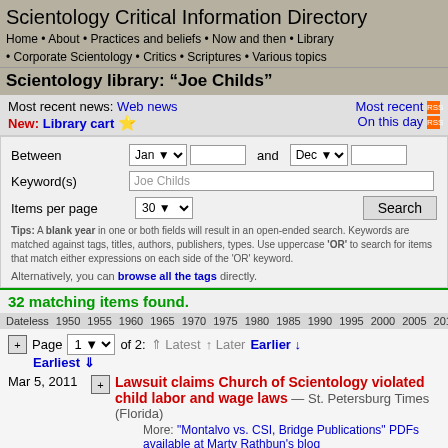Scientology Critical Information Directory
Home • About • Practices and beliefs • Now and then • Library • Corporate Scientology • Critics • Scriptures • Various topics
Scientology library: "Joe Childs"
Most recent news: Web news
New: Library cart ⭐
Most recent [RSS]
On this day [RSS]
Between Jan [dropdown] [year] and Dec [dropdown] [year]
Keyword(s): Joe Childs
Items per page: 30 [Search]
Tips: A blank year in one or both fields will result in an open-ended search. Keywords are matched against tags, titles, authors, publishers, types. Use uppercase 'OR' to search for items that match either expressions on each side of the 'OR' keyword.
Alternatively, you can browse all the tags directly.
32 matching items found.
Dateless 1950 1955 1960 1965 1970 1975 1980 1985 1990 1995 2000 2005 2010
Page 1 of 2: ⇑ Latest ↑ Later Earlier ↓ Earliest ⇓
Mar 5, 2011 — Lawsuit claims Church of Scientology violated child labor and wage laws — St. Petersburg Times (Florida)
More: "Montalvo vs. CSI, Bridge Publications" PDFs available at Marty Rathbun's blog
Feb 8, 2011 — FBI investigating Scientology, defectors say — St. Petersburg Times (Florida)